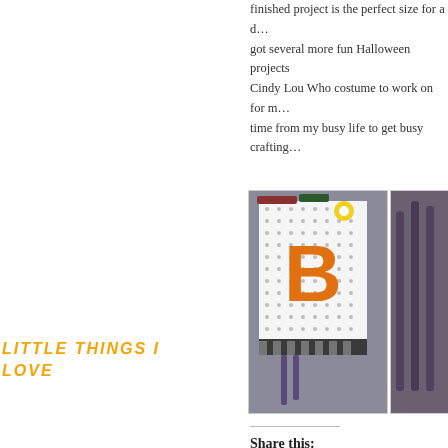finished project is the perfect size for a d... got several more fun Halloween projects... Cindy Lou Who costume to work on for m... time from my busy life to get busy crafting...
[Figure (photo): Photo of a craft project showing a decorative board with a large orange letter B on a black polka-dot background with ribbon and embellishments]
[Figure (photo): Partial photo showing a dark fabric or ribbon background]
LITTLE THINGS I LOVE
Share this:
Facebook  Pinterest  T...